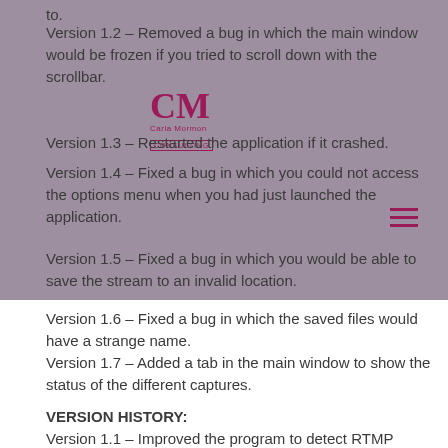to.
Version 1.2 – Removed a bug in which the main window would be frozen if you tried to scroll down with the scrollbar.
Version 1.3 – Restarted the application if it crashed.
Version 1.4 – Fixed a bug in which you could not access the options menu when you had just launched the application.
Version 1.5 – Fixed a bug in which you would be able to save the stream to an invalid location.
Version 1.6 – Fixed a bug in which the saved files would have a strange name.
Version 1.7 – Added a tab in the main window to show the status of the different captures.
VERSION HISTORY:
Version 1.1 – Improved the program to detect RTMP connections from the internet, even from live streams.
Version 1.2 – Fixed a bug in which the main window